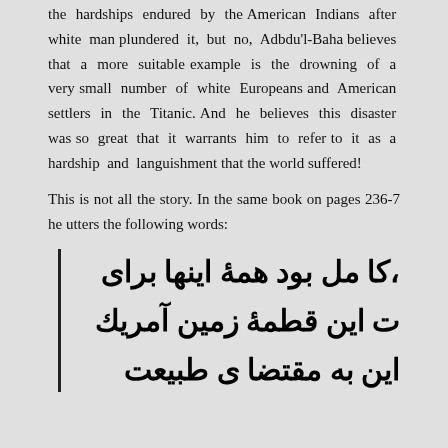the hardships endured by the American Indians after white man plundered it, but no, Adbdu'l-Baha believes that a more suitable example is the drowning of a very small number of white Europeans and American settlers in the Titanic. And he believes this disaster was so great that it warrants him to refer to it as a hardship and languishment that the world suffered!
This is not all the story. In the same book on pages 236-7 he utters the following words:
،کا مل بود همۀ اینها برای
ت این قطمۀ زمین آمریكٕ
این به مقتضا ی طبیعت